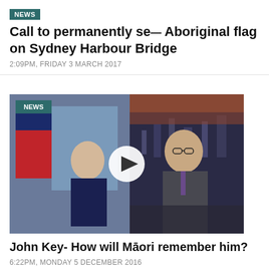NEWS
Call to permanently se— Aboriginal flag on Sydney Harbour Bridge
2:09PM, FRIDAY 3 MARCH 2017
[Figure (photo): Video thumbnail showing a TV news segment. Left side shows a man in a suit with a flag behind him. Right side shows a man in glasses and suit at a desk speaking. A play button overlay is centered. NEWS badge in top left.]
John Key- How will Māori remember him?
6:22PM, MONDAY 5 DECEMBER 2016